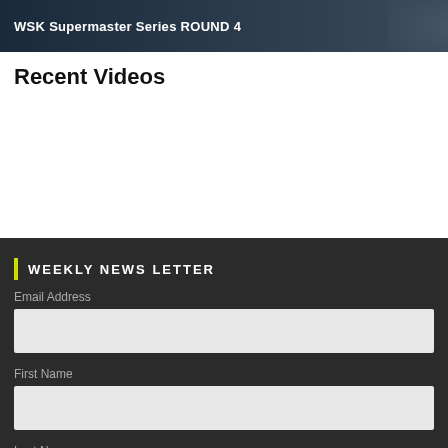[Figure (screenshot): Dark banner with text 'WSK Supermaster Series ROUND 4' overlaid on a dark racing/car background image]
Recent Videos
WEEKLY NEWS LETTER
Email Address
First Name
Last Name
Submit
English